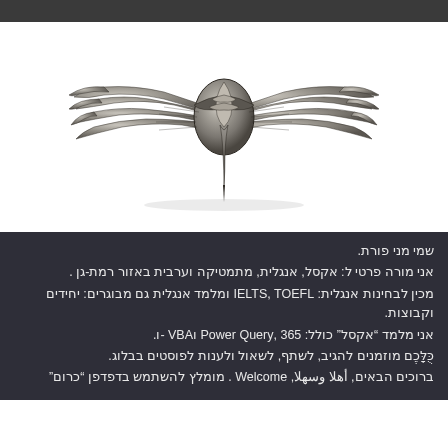[Figure (photo): Silver metallic military/paratrooper wings badge with spread wings and a central anchor/symbol, on white background]
שמי מני פורת.
אני מורה פרטי ל: אקסל, אנגלית, מתמטיקה וערבית באזור רמת-גן .
מכין לבחינות אנגלית: IELTS, TOEFL ומלמד אנגלית גם מבוגרים: יחידים וקבוצות.
אני מלמד "אקסל" כולל: 365 ,Power Query וVBA -ו.
כֻּלָּכֶם מוזמנים להגיב, לשתף, לשאול ולענות לפוסטים בבלוג.
ברוכים הבאים, أهلا وسهلا, Welcome . מומלץ להשתמש בדפדפן "כרום"